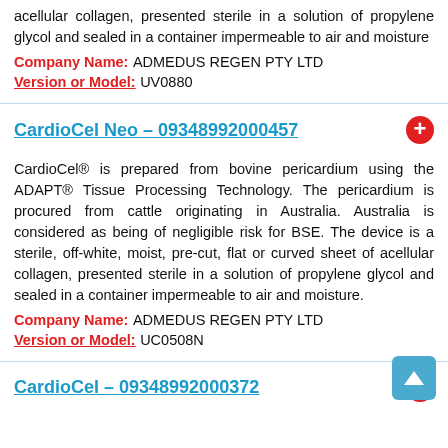acellular collagen, presented sterile in a solution of propylene glycol and sealed in a container impermeable to air and moisture
Company Name: ADMEDUS REGEN PTY LTD
Version or Model: UV0880
CardioCel Neo – 09348992000457
CardioCel® is prepared from bovine pericardium using the ADAPT® Tissue Processing Technology. The pericardium is procured from cattle originating in Australia. Australia is considered as being of negligible risk for BSE. The device is a sterile, off-white, moist, pre-cut, flat or curved sheet of acellular collagen, presented sterile in a solution of propylene glycol and sealed in a container impermeable to air and moisture.
Company Name: ADMEDUS REGEN PTY LTD
Version or Model: UC0508N
CardioCel – 09348992000372